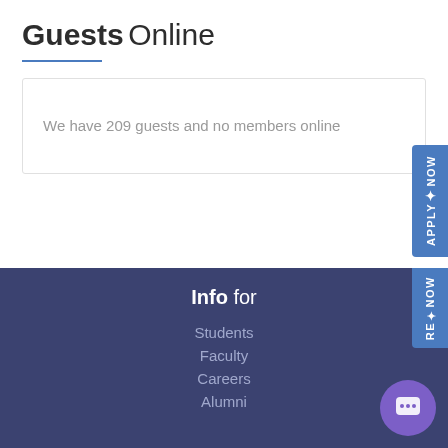Guests Online
We have 209 guests and no members online
Info for
Students
Faculty
Careers
Alumni